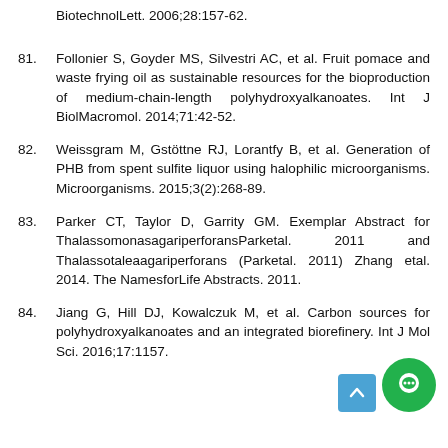BiotechnolLett. 2006;28:157-62.
81. Follonier S, Goyder MS, Silvestri AC, et al. Fruit pomace and waste frying oil as sustainable resources for the bioproduction of medium-chain-length polyhydroxyalkanoates. Int J BiolMacromol. 2014;71:42-52.
82. Weissgram M, Gstöttne RJ, Lorantfy B, et al. Generation of PHB from spent sulfite liquor using halophilic microorganisms. Microorganisms. 2015;3(2):268-89.
83. Parker CT, Taylor D, Garrity GM. Exemplar Abstract for ThalassomonasagariperforansParketal. 2011 and Thalassotaleaagariperforans (Parketal. 2011) Zhang etal. 2014. The NamesforLife Abstracts. 2011.
84. Jiang G, Hill DJ, Kowalczuk M, et al. Carbon sources for polyhydroxyalkanoates and an integrated biorefinery. Int J Mol Sci. 2016;17:1157.